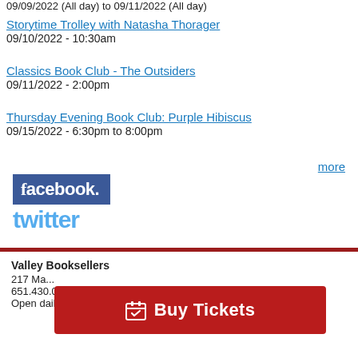09/09/2022 (All day) to 09/11/2022 (All day)
Storytime Trolley with Natasha Thorager
09/10/2022 - 10:30am
Classics Book Club - The Outsiders
09/11/2022 - 2:00pm
Thursday Evening Book Club: Purple Hibiscus
09/15/2022 - 6:30pm to 8:00pm
more
[Figure (logo): Facebook logo — white lowercase 'facebook.' text on dark blue background]
[Figure (logo): Twitter logo — light blue lowercase 'twitter' text]
Valley Booksellers
217 Ma...
651.430.0000 phone
Open daily 10-6
Buy Tickets